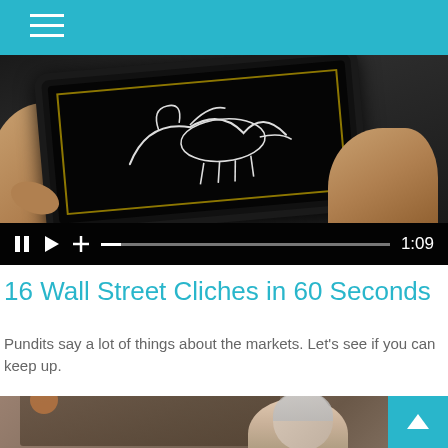[Figure (screenshot): Video player screenshot showing a video about Wall Street cliches. The video shows hands holding a tablet with a drawing. Video controls show pause, play, plus, progress bar and timestamp 1:09]
16 Wall Street Cliches in 60 Seconds
Pundits say a lot of things about the markets. Let's see if you can keep up.
[Figure (photo): Photo showing an older person with gray hair in what appears to be an indoor setting with furniture and shelves in the background]